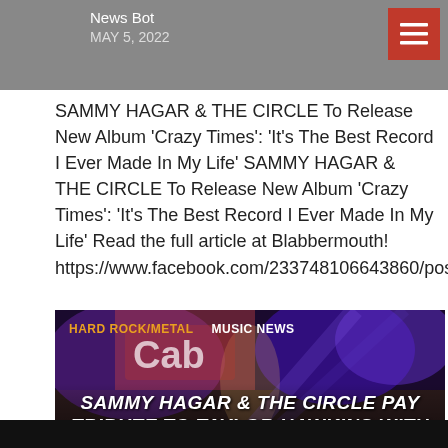News Bot
MAY 5, 2022
SAMMY HAGAR & THE CIRCLE To Release New Album ‘Crazy Times’: ‘It’s The Best Record I Ever Made In My Life’ SAMMY HAGAR & THE CIRCLE To Release New Album ‘Crazy Times’: ‘It’s The Best Record I Ever Made In My Life’ Read the full article at Blabbermouth! https://www.facebook.com/233748106643860/posts/561
[Figure (photo): Concert stage with purple lighting and a performer, overlaid with text 'SAMMY HAGAR & THE CIRCLE PAY TRIBUTE TO TAYLOR HAWKINS WITH' and category tags 'HARD ROCK/METAL' and 'MUSIC NEWS']